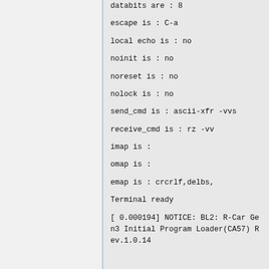databits are : 8
escape is : C-a
local echo is : no
noinit is : no
noreset is : no
nolock is : no
send_cmd is : ascii-xfr -vvs
receive_cmd is : rz -vv
imap is :
omap is :
emap is : crcrlf,delbs,
Terminal ready
[ 0.000194] NOTICE: BL2: R-Car Gen3 Initial Program Loader(CA57) Rev.1.0.14